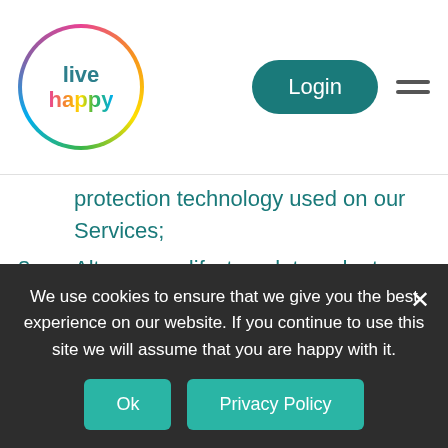[Figure (logo): Live Happy logo — circular rainbow border with 'live happy' text in teal/multicolor]
protection technology used on our Services;
8. Alter or modify, translate, adapt, merge, make derivative works of, decompile, disassemble, reverse compile, reverse engineer or otherwise attempt to derive the source code for any part of the Site or any of the Services;
We use cookies to ensure that we give you the best experience on our website. If you continue to use this site we will assume that you are happy with it.
Ok  Privacy Policy